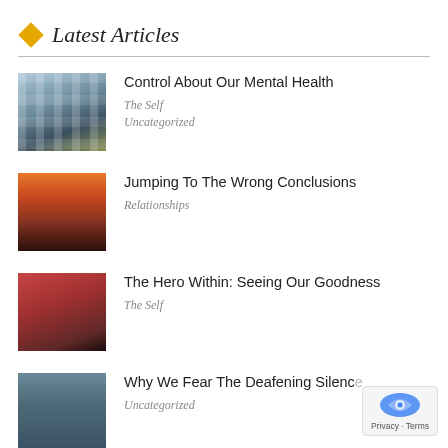Latest Articles
Control About Our Mental Health
The Self
Uncategorized
Jumping To The Wrong Conclusions
Relationships
The Hero Within: Seeing Our Goodness
The Self
Why We Fear The Deafening Silence
Uncategorized